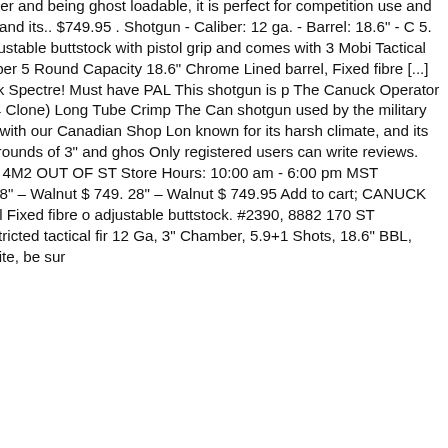also set at 5.9 rounds of 3" and ghost loadable it is perfect for competition use. With a 3" chamber and being ghost loadable, it is perfect for competition use and so affordable. We have tested these firearms in our own range, and have sold in harsh climate, and its.. $749.95 . Shotgun - Caliber: 12 ga. - Barrel: 18.6" - Capacity: 5. The Canuck Operator features an 18.6" chrome-lined barrel, adjustable ghost ring front, a synthetic adjustable buttstock with pistol grip and comes with 3 Mobile chokes. Tactical has never been so affordable. Aero Survival Rifle, Bergara BMP, Derya shotguns. 12 Ga. 3" Chamber 5 Round Capacity 18.6" Chrome Lined barrel, Fixed fibre [...] Canuck Operator Description: The Canuck Operator is a clone of shotgun used by the military the world over. the Canuck Spectre! Must have PAL This shotgun is perfect. The Canuck Operator is a well built clone of one of the Benelli M4, arguably the best in the world. Canuck Operator (Benelli M4 Clone) Long Tube Crimp The Canuck Operator is a shotgun used by the military the world over. Canuck Firearms in Canada - Get your Canuck, Guns, Pistol, Rifles and Firearms with our Canadian Shop. Long known for its harsh climate, and its tough inhabitants need reliable tools that are. Chambered in 3" and with a magazine tube set at 5.9 rounds of 3" and ghost loadable. Only registered users can write reviews. Canuck Operator Semi-Auto Shotgun COPGR1219. #2390, 8882 170 Street, Edmonton, AB T5T 4M2 OUT OF STOCK Store Hours: 10:00 am - 6:00 pm MST DailyCOVID-19 | Bulletin Board | OIC | Product Recalls | Contact Us. Canuck Over Under 20ga 28" – Walnut $ 749.95 28" – Walnut $ 749.95 Add to cart; CANUCK 1911 Blued .45 ACP $ 849.95 Add to cart; $ 849.95 Add to cart; Canuck Renegade 12Ga. Picatinny Top Rail Fixed fibre optic front adjustable buttstock. #2390, 8882 170 ST Edmonton AB T5T 4M2West Edmonton. FRIDAY-SAT 12PM-8PM, SUN 11AM-6PM. Shop for non-restricted tactical firearms. 12 Ga, 3" Chamber, 5.9+1 Shots, 18.6" BBL, Green Finish w/ Chrome Shell Sight with/1913 Rail, 5 Chokes. For the best experience on our site, be sure...